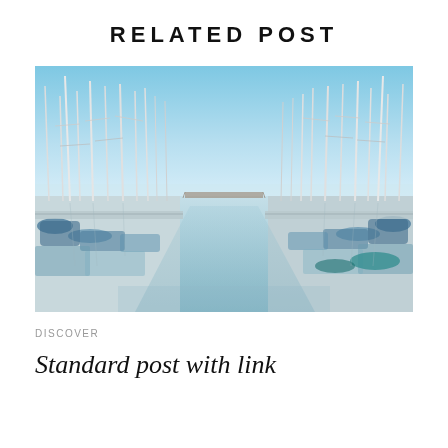RELATED POST
[Figure (photo): A marina with many sailboats docked on either side of a calm water channel, with tall white masts reflected in the blue water. A bridge is visible in the distance under a clear blue sky.]
DISCOVER
Standard post with link